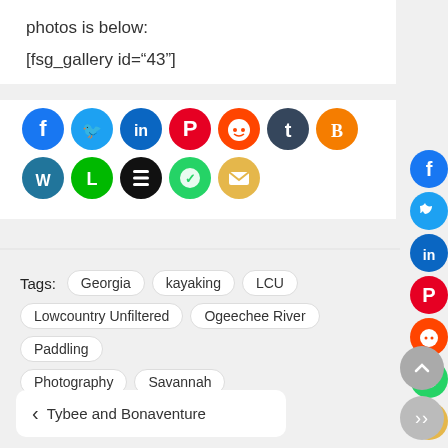photos is below:
[fsg_gallery id="43"]
[Figure (other): Row of social media sharing icon buttons: Facebook (blue), Twitter (blue), LinkedIn (blue), Pinterest (red), Reddit (orange), Tumblr (dark blue-gray), Blogger (orange), WordPress (dark), Line (green), Buffer (black), WhatsApp (teal), Email (yellow)]
Tags:  Georgia  kayaking  LCU  Lowcountry Unfiltered  Ogeechee River  Paddling  Photography  Savannah
‹  Tybee and Bonaventure
[Figure (other): Vertical sidebar with social sharing icons on right edge: Facebook, Twitter, LinkedIn, Pinterest, Reddit, WhatsApp, Email. Also scroll-up button and dots button at bottom right.]